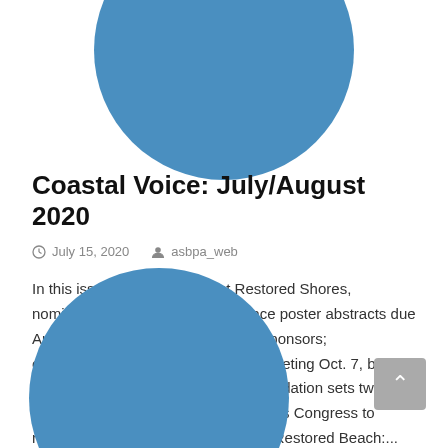[Figure (illustration): Blue circle partially visible at the top of the page]
Coastal Voice: July/August 2020
July 15, 2020   asbpa_web
In this issue: Last call for Best Restored Shores, nominations due July 17 Conference poster abstracts due Aug. 21 Thanks to our conference sponsors; opportunities still available Annual meeting Oct. 7, board nominations open Coastal Zone Foundation sets two short courses for conference What has Congress to respond to coastal Covid crisis Best Restored Beach:...
[Figure (illustration): Blue circle partially visible at the bottom-left of the page]